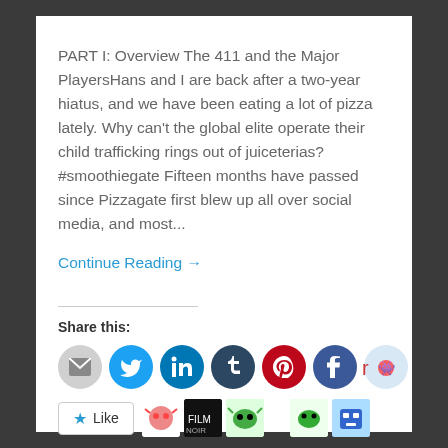PART I: Overview The 411 and the Major PlayersHans and I are back after a two-year hiatus, and we have been eating a lot of pizza lately. Why can't the global elite operate their child trafficking rings out of juiceterias? #smoothiegate Fifteen months have passed since Pizzagate first blew up all over social media, and most...
Continue Reading →
Share this:
[Figure (infographic): Row of social share icon circles: email (gray), Twitter (blue), LinkedIn (dark blue), Tumblr (dark navy), Pinterest (red), Facebook (blue), Reddit (light blue)]
[Figure (infographic): Like button and 5 blogger avatar thumbnails]
6 bloggers like this.